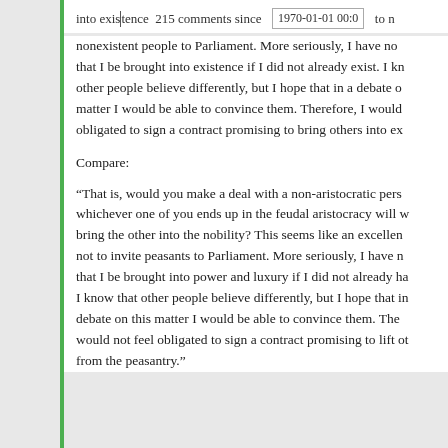into existence 215 comments since 1970-01-01 00:0 to n nonexistent people to Parliament. More seriously, I have no that I be brought into existence if I did not already exist. I kn other people believe differently, but I hope that in a debate o matter I would be able to convince them. Therefore, I would obligated to sign a contract promising to bring others into ex
Compare:
“That is, would you make a deal with a non-aristocratic pers whichever one of you ends up in the feudal aristocracy will w bring the other into the nobility? This seems like an excellen not to invite peasants to Parliament. More seriously, I have n that I be brought into power and luxury if I did not already ha I know that other people believe differently, but I hope that in debate on this matter I would be able to convince them. The would not feel obligated to sign a contract promising to lift ot from the peasantry.”